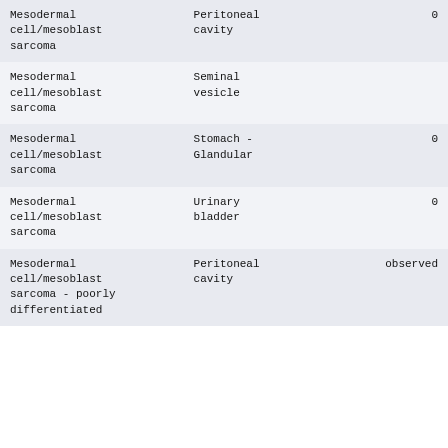| Mesodermal cell/mesoblast sarcoma | Peritoneal cavity | 0 |
| Mesodermal cell/mesoblast sarcoma | Seminal vesicle |  |
| Mesodermal cell/mesoblast sarcoma | Stomach - Glandular | 0 |
| Mesodermal cell/mesoblast sarcoma | Urinary bladder | 0 |
| Mesodermal cell/mesoblast sarcoma - poorly differentiated | Peritoneal cavity | observed |